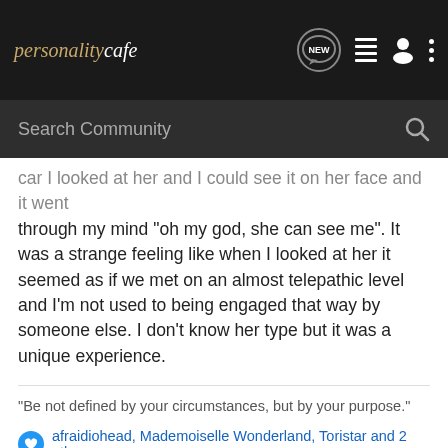personalitycafe
car I looked at her and I could see it on her face and it went through my mind "oh my god, she can see me". It was a strange feeling like when I looked at her it seemed as if we met on an almost telepathic level and I'm not used to being engaged that way by someone else. I don't know her type but it was a unique experience.
"Be not defined by your circumstances, but by your purpose."
afraidiohead, Mademoiselle Wonderland, Toristar and 2 others
Zomboy · Registered
Joined Jun 12, 2010 · 1,553 Posts